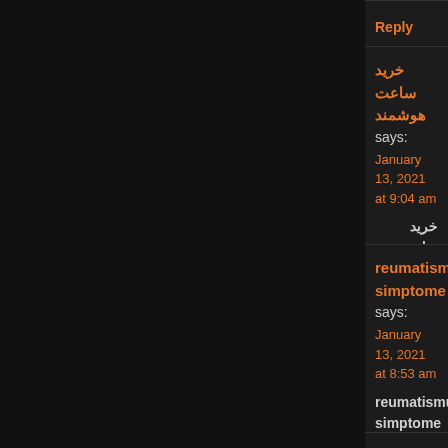Reply
خرید ساعت هوشمند says:
January 13, 2021 at 9:04 am

خرید ساعت هوشمند

like water for chocolate » Blog Archive » Methodologi Analyzing Digital Media Sources

Reply
reumatismul simptome says:
January 13, 2021 at 8:53 am

reumatismul simptome

like water for chocolate » Blog Archive » Methodologi Analyzing Digital Media Sources

Reply
hipertensiune arteriala alimente interzise says:
January 13, 2021 at 8:31 am

hipertensiune arteriala alimente interzise

like water for chocolate » Blog Archive » Methodologi Analyzing Digital Media Sources